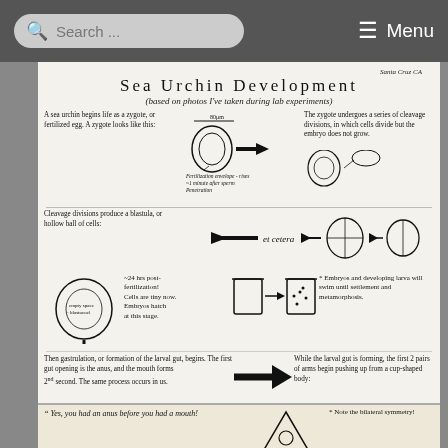Search ... | Menu
Sea Urchin Development
(based on photos I've taken during lab experiments)
A sea urchin begins life as a zygote, or fertilized egg. A zygote looks like this:
[Figure (illustration): Drawing of a zygote (oval shape) with fertilization envelope label, arrow pointing right, then cleavage stages]
The zygote undergoes a series of cleavage divisions, in which cells divide but the embryo does not grow.
Cleavage divisions produce a blastula, or hollow ball of cells:
[Figure (illustration): Arrow pointing left, et cetera text, drawings of 4-cell and 2-cell stages]
[Figure (illustration): Drawing of blastula (hollow circle) with labels for empty space and blastocoel]
~24 hrs post-fertilization! Cells are tiny now. Embryos hatch at this stage.
[Figure (illustration): Beaker/container drawings with arrow showing embryos swimming]
Embryos and developing larva will swim until settlement and metamorphosis.
Then gastrulation, or formation of the larval gut, begins. The first gut opening is the anus, and the mouth forms 2nd second. The same process occurs in us.
[Figure (illustration): Large arrow pointing right]
While the larval gut is forming, the first 2 pairs of arms begin pushing up from a cup-shaped body:
"Yes, you had an anus before you had a mouth!
[Figure (illustration): Drawing of larva (triangular shape) with note: Note the bilateral symmetry!]
Hard to make sense of because the arm pairs are in different focal planes!
Growth is rapid once the larva begins feeding. Additional arms form in pairs.
[Figure (illustration): Drawing of larva with multiple arms]
*A larva that is competent, or ready to settle and metamorphose, has 4 pairs of arms and a juvenile...